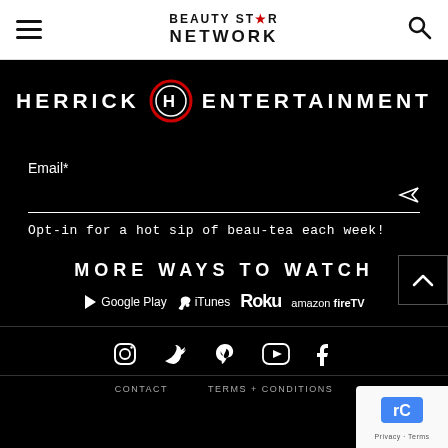Beauty Star Network
[Figure (logo): Herrick Entertainment logo banner on black background with circular H emblem]
Email*
Opt-in for a hot sip of beau-tea each week!
MORE WAYS TO WATCH
[Figure (illustration): Platform logos: Google Play, iTunes, Roku, amazon fireTV]
[Figure (illustration): Social media icons: Instagram, Twitter, Pinterest, YouTube, Facebook]
CONTACT   TERMS + CONDITIONS